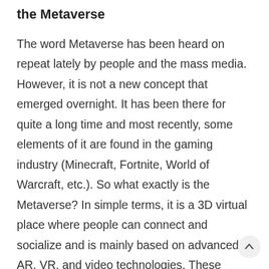the Metaverse
The word Metaverse has been heard on repeat lately by people and the mass media. However, it is not a new concept that emerged overnight. It has been there for quite a long time and most recently, some elements of it are found in the gaming industry (Minecraft, Fortnite, World of Warcraft, etc.). So what exactly is the Metaverse? In simple terms, it is a 3D virtual place where people can connect and socialize and is mainly based on advanced AR, VR, and video technologies. These components are the reason behind people's ability to virtually hold business meetings for instance or studying, shopping, attending concerts, and much more exceptional